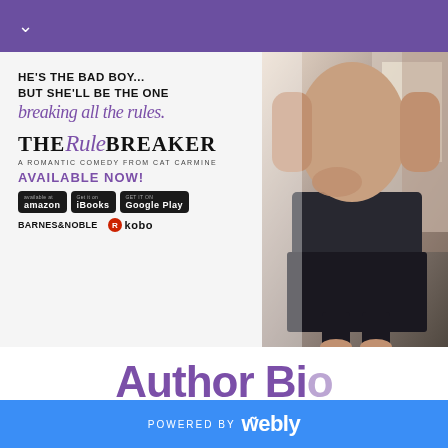chevron down navigation
[Figure (illustration): Book promotional image for 'The Rule Breaker' by Cat Carmine, a romantic comedy. Left side shows text: 'HE'S THE BAD BOY... BUT SHE'LL BE THE ONE breaking all the rules.' Book title 'The Rule Breaker' with store badges for Amazon, iBooks, Google Play, Barnes & Noble, and Kobo. Right side shows a couple embracing, shirtless man with woman in dark jeans.]
Author Bio
POWERED BY weebly